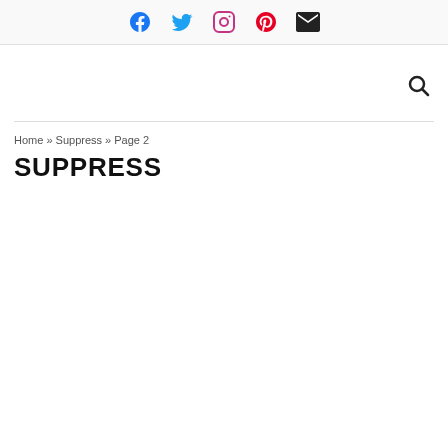Facebook Twitter Instagram Pinterest Email
Search
Home » Suppress » Page 2
SUPPRESS